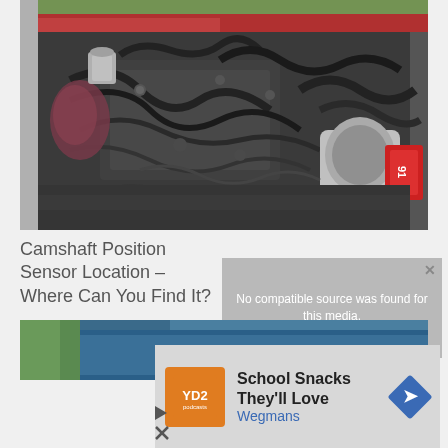[Figure (photo): Car engine bay photograph showing a complex engine with hoses, cables, and components including a red air intake element on the right side]
Camshaft Position Sensor Location – Where Can You Find It?
[Figure (screenshot): Video player overlay showing 'No compatible source was found for this media.' error message with a close button]
[Figure (photo): Partial photo of a blue car exterior]
[Figure (other): Advertisement overlay showing 'School Snacks They'll Love' from Wegmans with orange logo, navigation arrow, and dismiss controls including play and X buttons]